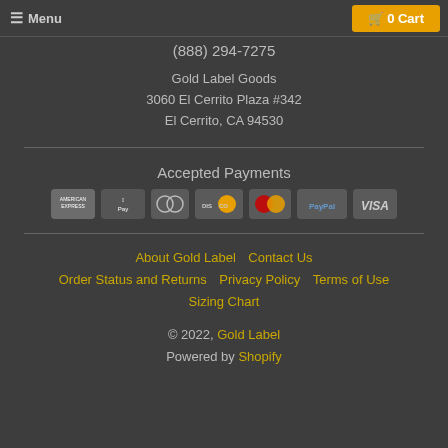☰ Menu | 0 Cart
(888) 294-7275
Gold Label Goods
3060 El Cerrito Plaza #342
El Cerrito, CA 94530
Accepted Payments
[Figure (infographic): Payment method logos: American Express, Apple Pay, Diners Club, Discover, MasterCard, PayPal, Visa]
About Gold Label   Contact Us
Order Status and Returns   Privacy Policy   Terms of Use
Sizing Chart
© 2022, Gold Label
Powered by Shopify